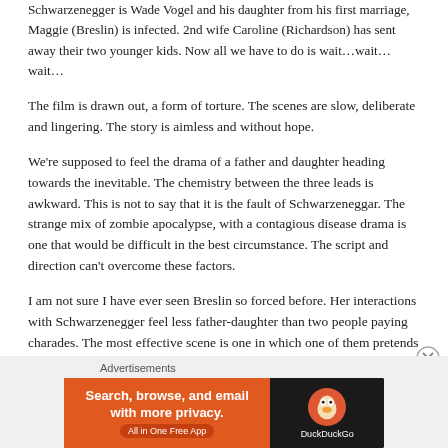Schwarzenegger is Wade Vogel and his daughter from his first marriage, Maggie (Breslin) is infected. 2nd wife Caroline (Richardson) has sent away their two younger kids. Now all we have to do is wait…wait…wait…
The film is drawn out, a form of torture. The scenes are slow, deliberate and lingering. The story is aimless and without hope.
We're supposed to feel the drama of a father and daughter heading towards the inevitable. The chemistry between the three leads is awkward. This is not to say that it is the fault of Schwarzeneggar. The strange mix of zombie apocalypse, with a contagious disease drama is one that would be difficult in the best circumstance. The script and direction can't overcome these factors.
I am not sure I have ever seen Breslin so forced before. Her interactions with Schwarzenegger feel less father-daughter than two people paying charades. The most effective scene is one in which one of them pretends to be sleeping.
Advertisements
[Figure (screenshot): DuckDuckGo advertisement banner: orange left section with text 'Search, browse, and email with more privacy. All in One Free App' and dark right section with DuckDuckGo logo and name.]